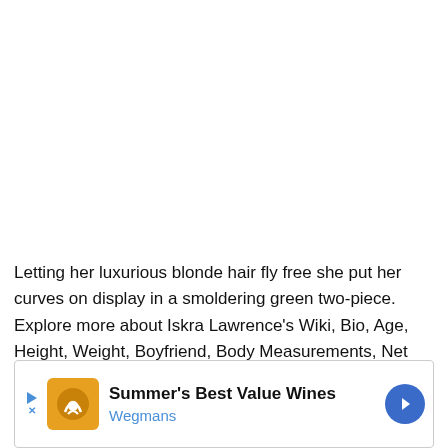Letting her luxurious blonde hair fly free she put her curves on display in a smoldering green two-piece. Explore more about Iskra Lawrence's Wiki, Bio, Age, Height, Weight, Boyfriend, Body Measurements, Net Worth, Family, Career and many more Facts about her.
[Figure (infographic): Advertisement banner: Summer's Best Value Wines by Wegmans, with orange logo, play/close buttons, and blue arrow navigation button]